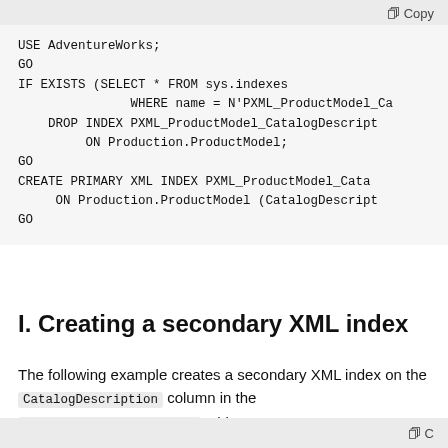USE AdventureWorks;
GO
IF EXISTS (SELECT * FROM sys.indexes
               WHERE name = N'PXML_ProductModel_Ca
    DROP INDEX PXML_ProductModel_CatalogDescript
         ON Production.ProductModel;
GO
CREATE PRIMARY XML INDEX PXML_ProductModel_Cata
     ON Production.ProductModel (CatalogDescript
GO
I. Creating a secondary XML index
The following example creates a secondary XML index on the CatalogDescription column in the Production.ProductModel table.